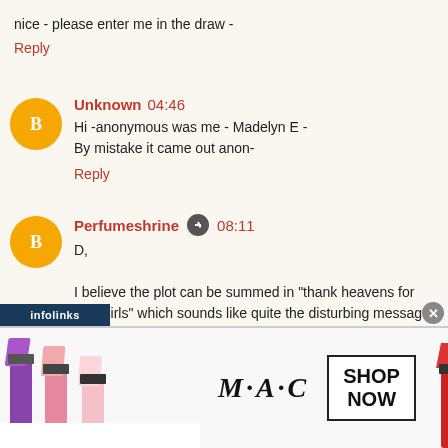nice - please enter me in the draw -
Reply
Unknown 04:46
Hi -anonymous was me - Madelyn E -
By mistake it came out anon-
Reply
Perfumeshrine 08:11
D,

I believe the plot can be summed in "thank heavens for little girls" which sounds like quite the disturbing message!
[Figure (advertisement): MAC lipstick advertisement banner with 'SHOP NOW' call to action, showing purple and pink lipsticks on left, MAC logo in center, and red lipstick on right. Infolinks label bar visible.]